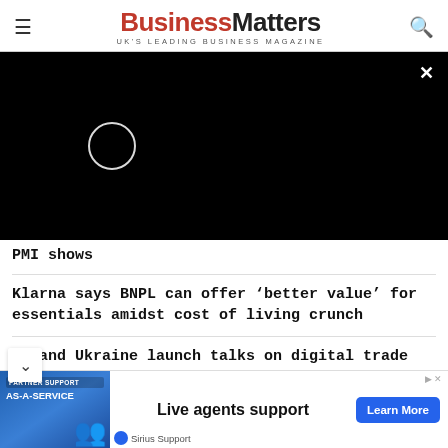Business Matters — UK'S LEADING BUSINESS MAGAZINE
[Figure (screenshot): Black video player overlay with loading spinner (white circle outline) and close X button in top-right corner]
PMI shows
Klarna says BNPL can offer ‘better value’ for essentials amidst cost of living crunch
UK and Ukraine launch talks on digital trade agreement
[Figure (infographic): Advertisement banner: Sirius Support — Live agents support — Learn More button. Features blue image block with AS-A-SERVICE text and people illustration.]